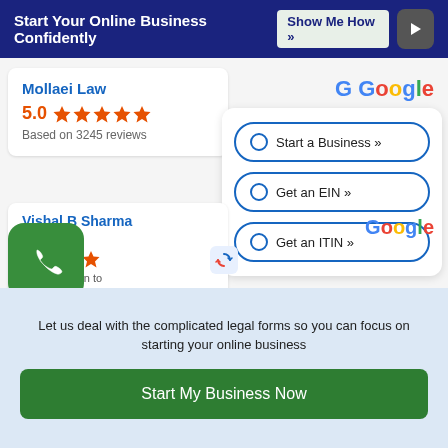Start Your Online Business Confidently   Show Me How »
Mollaei Law
5.0 ★★★★★
Based on 3245 reviews
[Figure (screenshot): Options panel with radio buttons: Start a Business », Get an EIN », Get an ITIN »]
Vishal B Sharma
ago
Super... again to someone
Let us deal with the complicated legal forms so you can focus on starting your online business
Start My Business Now